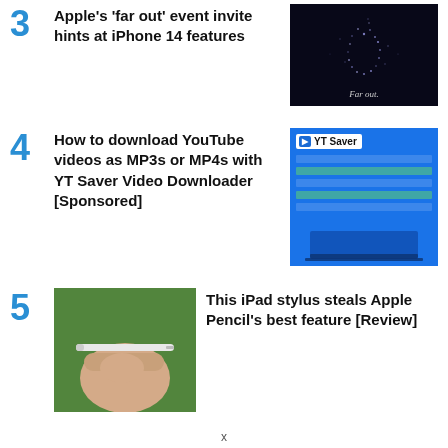3 Apple's 'far out' event invite hints at iPhone 14 features
[Figure (photo): Dark Apple event image with glowing Apple logo and text 'Far out.']
4 How to download YouTube videos as MP3s or MP4s with YT Saver Video Downloader [Sponsored]
[Figure (screenshot): YT Saver app screenshot on blue background showing video download interface on laptop]
5 This iPad stylus steals Apple Pencil's best feature [Review]
[Figure (photo): Hand holding a white stylus pen against green grass background]
x